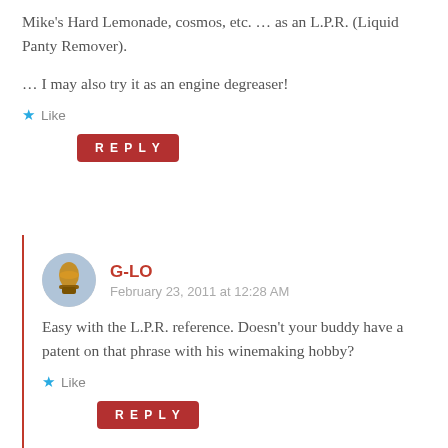Mike's Hard Lemonade, cosmos, etc. … as an L.P.R. (Liquid Panty Remover).
… I may also try it as an engine degreaser!
Like
REPLY
G-LO
February 23, 2011 at 12:28 AM
Easy with the L.P.R. reference. Doesn't your buddy have a patent on that phrase with his winemaking hobby?
Like
REPLY